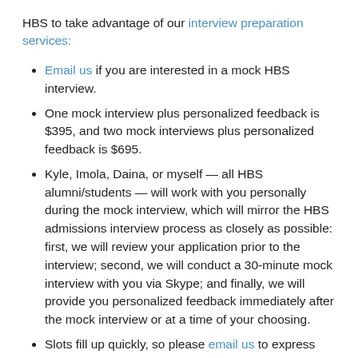HBS to take advantage of our interview preparation services:
Email us if you are interested in a mock HBS interview.
One mock interview plus personalized feedback is $395, and two mock interviews plus personalized feedback is $695.
Kyle, Imola, Daina, or myself — all HBS alumni/students — will work with you personally during the mock interview, which will mirror the HBS admissions interview process as closely as possible: first, we will review your application prior to the interview; second, we will conduct a 30-minute mock interview with you via Skype; and finally, we will provide you personalized feedback immediately after the mock interview or at a time of your choosing.
Slots fill up quickly, so please email us to express your interest or get more information.
Alternatively, you can secure your spot directly by signing-up via paypal. We will get back to you within 24 hours to arrange a suitable time slot. Simply use the form at the end of this